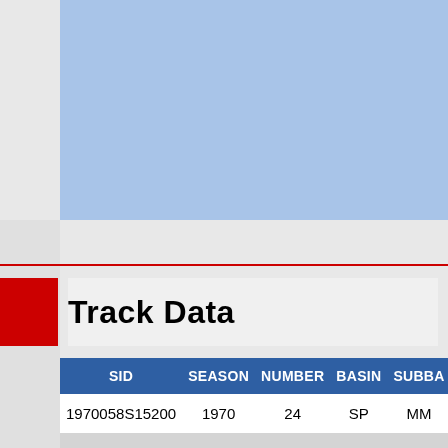[Figure (other): Light blue banner/header area at top of page]
Track Data
| SID | SEASON | NUMBER | BASIN | SUBBA |
| --- | --- | --- | --- | --- |
| 1970058S15200 | 1970 | 24 | SP | MM |
| 1970058S15200 | 1970 | 24 | SP | MM |
| 1970058S15200 | 1970 | 24 | SP | MM |
| 1970058S15200 | 1970 | 24 | SP | MM |
| 1970058S15200 | 1970 | 24 | SP | MM |
| 1970058S15200 | 1970 | 24 | SP | MM |